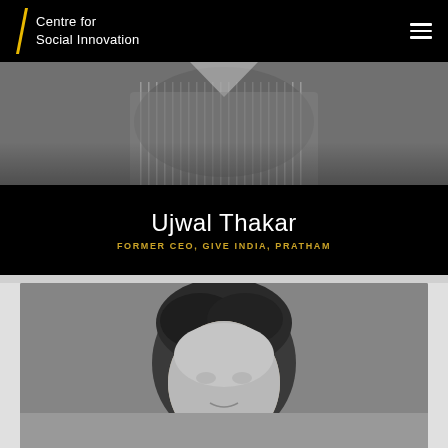Centre for Social Innovation
[Figure (photo): Black and white photo showing a person in a striped dress shirt, cropped at chest/shoulder level]
Ujwal Thakar
FORMER CEO, GIVE INDIA, PRATHAM
[Figure (photo): Black and white portrait photo showing the top portion of a man's head with dark hair, against a grey background]